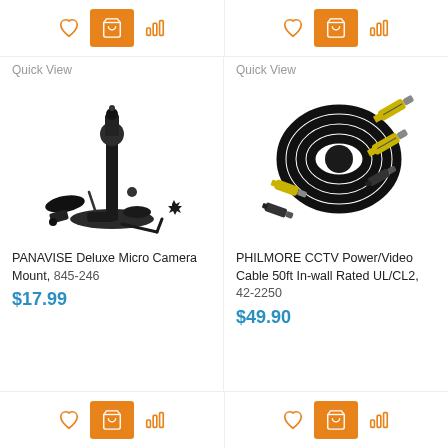[Figure (screenshot): Top action bar with heart, cart, and bar-chart icons for two products]
[Figure (photo): PANAVISE Deluxe Micro Camera Mount product photo showing mount stand and accessories]
Quick View
PANAVISE Deluxe Micro Camera Mount, 845-246
$17.99
[Figure (photo): PHILMORE CCTV Power/Video Cable 50ft coiled black cable with yellow BNC connectors]
Quick View
PHILMORE CCTV Power/Video Cable 50ft In-wall Rated UL/CL2, 42-2250
$49.90
[Figure (screenshot): Bottom action bar with heart, cart, and bar-chart icons for two products]